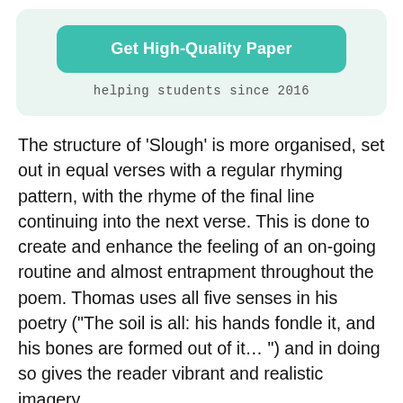[Figure (other): A teal rounded button labeled 'Get High-Quality Paper' inside a light green rounded box, with tagline 'helping students since 2016' below it.]
The structure of ‘Slough’ is more organised, set out in equal verses with a regular rhyming pattern, with the rhyme of the final line continuing into the next verse. This is done to create and enhance the feeling of an on-going routine and almost entrapment throughout the poem. Thomas uses all five senses in his poetry (“The soil is all: his hands fondle it, and his bones are formed out of it… ”) and in doing so gives the reader vibrant and realistic imagery.